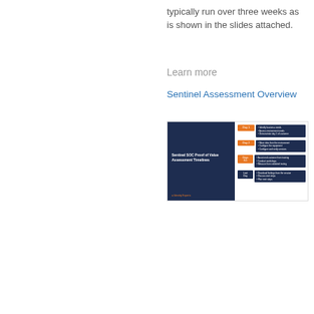typically run over three weeks as is shown in the slides attached.
Learn more
Sentinel Assessment Overview
[Figure (screenshot): Thumbnail image of a slide deck titled 'Sentinel SOC Proof of Value Assessment Timelines' showing a dark blue left panel with title and logo, and a white right panel with four steps (Day 1, Day 2, Days 3-5, Last Day) each with an orange or blue badge and bullet points on a dark blue background.]